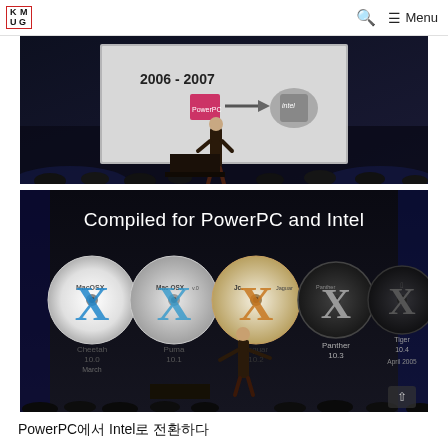KMUG — Menu
[Figure (photo): Steve Jobs on stage presenting a slide showing '2006 - 2007' with PowerPC chip transitioning (arrow) to Intel chip, audience visible in foreground]
[Figure (photo): Steve Jobs on stage pointing at a presentation slide reading 'Compiled for PowerPC and Intel' showing Mac OS X version discs: Cheetah 10.0 (March), Puma 10.1, Jaguar 10.2, Panther 10.3, Tiger 10.4 (April 2005)]
PowerPC에서 Intel로 전환하다